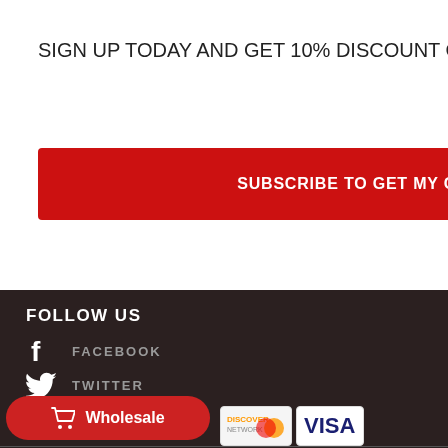SIGN UP TODAY AND GET 10% DISCOUNT On your next order
SUBSCRIBE TO GET MY COUPON
FOLLOW US
FACEBOOK
TWITTER
INSTAGRAM
Wholesale
[Figure (logo): Discover Network payment card logo]
[Figure (logo): Visa payment card logo]
Chat with us
[Figure (logo): TrustedSite security badge]